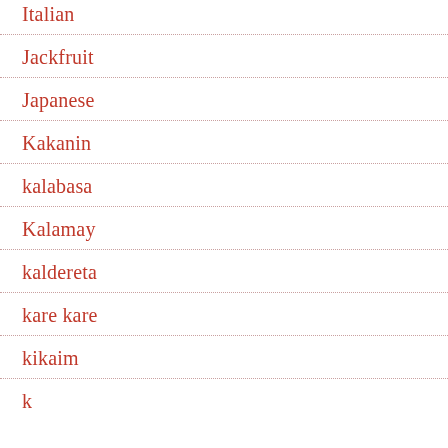Italian
Jackfruit
Japanese
Kakanin
kalabasa
Kalamay
kaldereta
kare kare
kikaim
k...